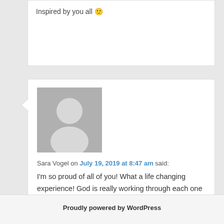Inspired by you all 🙂
Sara Vogel on July 19, 2019 at 8:47 am said:
I'm so proud of all of you! What a life changing experience! God is really working through each one of you!
Comments are closed.
Proudly powered by WordPress